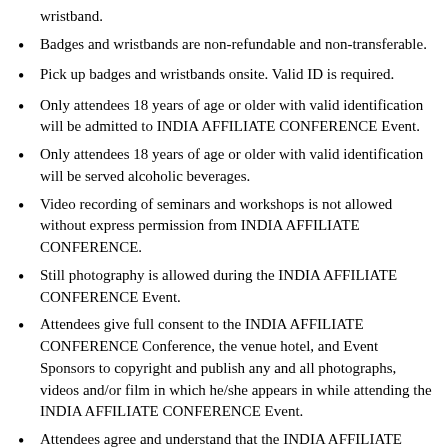wristband.
Badges and wristbands are non-refundable and non-transferable.
Pick up badges and wristbands onsite. Valid ID is required.
Only attendees 18 years of age or older with valid identification will be admitted to INDIA AFFILIATE CONFERENCE Event.
Only attendees 18 years of age or older with valid identification will be served alcoholic beverages.
Video recording of seminars and workshops is not allowed without express permission from INDIA AFFILIATE CONFERENCE.
Still photography is allowed during the INDIA AFFILIATE CONFERENCE Event.
Attendees give full consent to the INDIA AFFILIATE CONFERENCE Conference, the venue hotel, and Event Sponsors to copyright and publish any and all photographs, videos and/or film in which he/she appears in while attending the INDIA AFFILIATE CONFERENCE Event.
Attendees agree and understand that the INDIA AFFILIATE CONFERENCE, it's staff, the venue hotel and the Event Sponsors are not responsible for any damages, actions, claims, costs or other expenses including, but not limited to personal injury, wrongful death or property damaged suffered by any attendee during the course of the INDIA